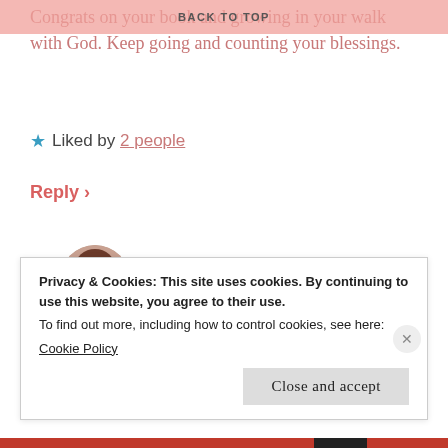BACK TO TOP
Congrats on your book and growing in your walk with God. Keep going and counting your blessings.
★ Liked by 2 people
Reply ›
KylieCeline| Kylie's Corner & More says:
3 Jan 2019 at 7:16 pm
[Figure (photo): Round avatar photo of a young woman smiling]
Aw, thank you so much! I pray God blesses
Privacy & Cookies: This site uses cookies. By continuing to use this website, you agree to their use.
To find out more, including how to control cookies, see here:
Cookie Policy
Close and accept